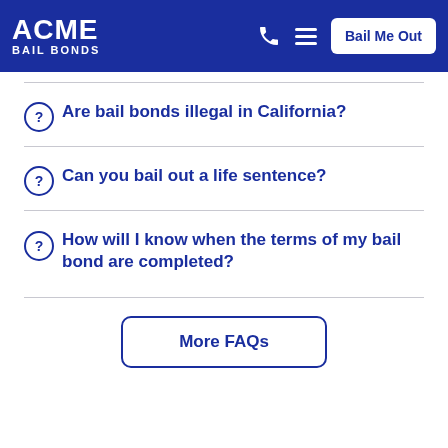ACME BAIL BONDS | Bail Me Out
Are bail bonds illegal in California?
Can you bail out a life sentence?
How will I know when the terms of my bail bond are completed?
More FAQs